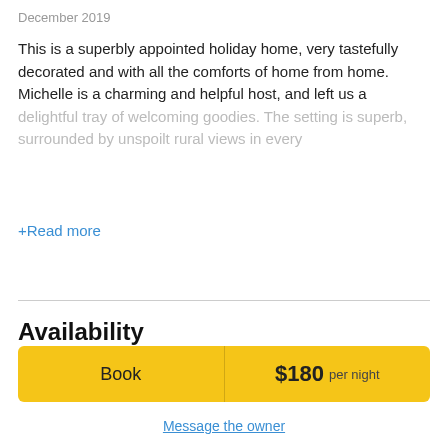December 2019
This is a superbly appointed holiday home, very tastefully decorated and with all the comforts of home from home. Michelle is a charming and helpful host, and left us a delightful tray of welcoming goodies. The setting is superb, surrounded by unspoilt rural views in every
+Read more
Availability
Book  $180 per night
Message the owner